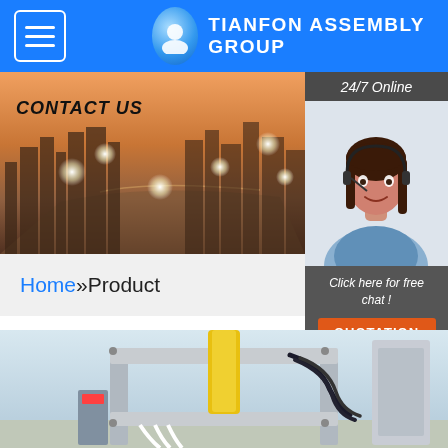TIANFON ASSEMBLY GROUP
[Figure (screenshot): Hero banner showing city skyline at dusk/sunset with glowing light orbs and CONTACT US text overlay]
[Figure (photo): 24/7 Online sidebar with photo of female customer service agent wearing headset, smiling]
Click here for free chat !
QUOTATION
Home »Product
[Figure (photo): Industrial hydraulic press machine in a factory setting with yellow cylinder component visible]